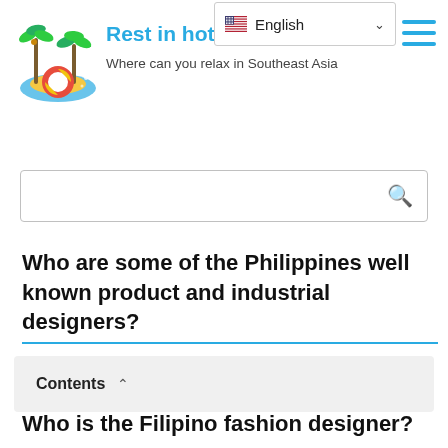[Figure (logo): Tropical island with palm trees and a colorful beach float/ring on water — website logo for 'Rest in hot countries']
Rest in hot countries
Where can you relax in Southeast Asia
English
Who are some of the Philippines well known product and industrial designers?
Contents
Who is the Filipino fashion designer?